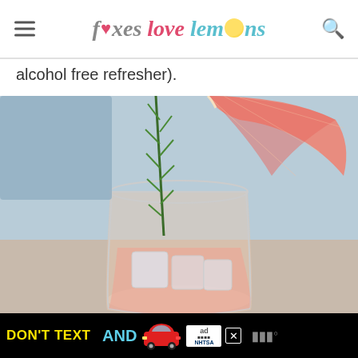foxes love lemons
alcohol free refresher).
[Figure (photo): Close-up photo of a glass cocktail or mocktail drink garnished with a sprig of fresh rosemary and a wedge of pink grapefruit, with ice cubes visible inside the glass. The background is soft blue-gray, and the drink is a pale pinkish color.]
[Figure (infographic): Black advertisement banner reading 'DON'T TEXT AND' in bold yellow and cyan text, with a red car graphic, an 'ad' badge, NHTSA branding, and a close (X) button.]